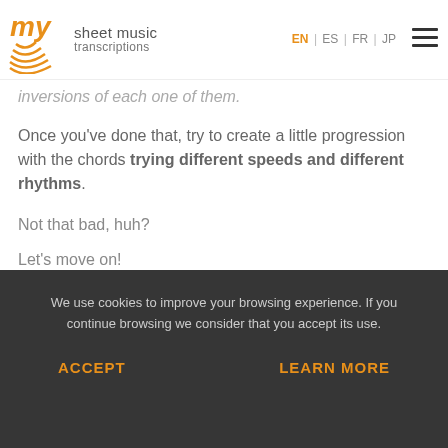my sheet music transcriptions | EN | ES | FR | JP
inversions of each one of them.
Once you've done that, try to create a little progression with the chords trying different speeds and different rhythms.
Not that bad, huh?
Let's move on!
2. Improve your musical ear
It has to do with...
We use cookies to improve your browsing experience. If you continue browsing we consider that you accept its use.
ACCEPT
LEARN MORE